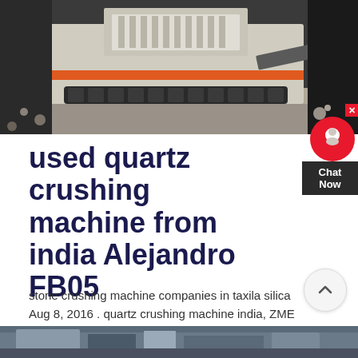[Figure (photo): Photograph of a large mobile stone/quartz crushing machine outdoors on a rocky surface]
used quartz crushing machine from india Alejandro FB05
stone crushing machine companies in taxila silica Aug 8, 2016 . quartz crushing machine india, ZME Mining manufacturer quartz crushing . used in stone crushing, sand or have any special requests for equipment, .f india. sale in India not only present quartz quarry equipment for .
[Figure (photo): Partial view of another crushing machine or mining equipment at the bottom of the page]